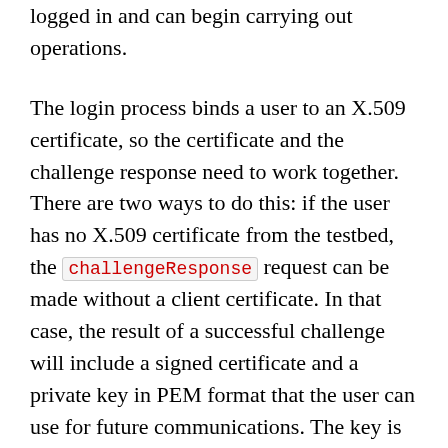logged in and can begin carrying out operations.
The login process binds a user to an X.509 certificate, so the certificate and the challenge response need to work together. There are two ways to do this: if the user has no X.509 certificate from the testbed, the challengeResponse request can be made without a client certificate. In that case, the result of a successful challenge will include a signed certificate and a private key in PEM format that the user can use for future communications. The key is unencrypted, and it is the responsibility of the client to properly protect it.